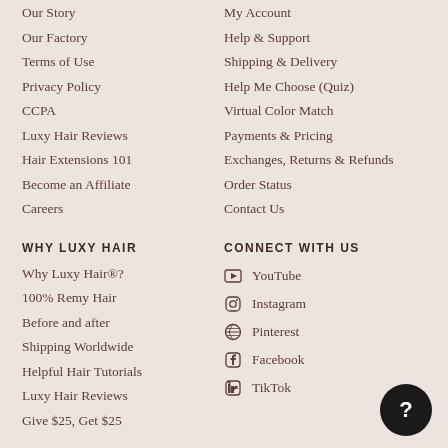Our Story
Our Factory
Terms of Use
Privacy Policy
CCPA
Luxy Hair Reviews
Hair Extensions 101
Become an Affiliate
Careers
My Account
Help & Support
Shipping & Delivery
Help Me Choose (Quiz)
Virtual Color Match
Payments & Pricing
Exchanges, Returns & Refunds
Order Status
Contact Us
WHY LUXY HAIR
Why Luxy Hair®?
100% Remy Hair
Before and after
Shipping Worldwide
Helpful Hair Tutorials
Luxy Hair Reviews
Give $25, Get $25
CONNECT WITH US
YouTube
Instagram
Pinterest
Facebook
TikTok